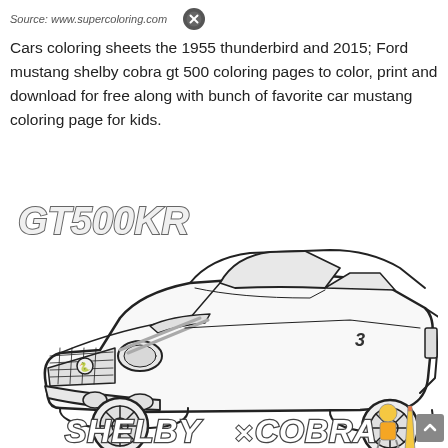Source: www.supercoloring.com
Cars coloring sheets the 1955 thunderbird and 2015; Ford mustang shelby cobra gt 500 coloring pages to color, print and download for free along with bunch of favorite car mustang coloring page for kids.
[Figure (illustration): GT500KR text label with stylized outlined/3D lettering above a detailed pencil sketch coloring page of a Ford Mustang Shelby Cobra GT500KR sports car, front 3/4 view. Below the car is 'SHELBY COBRA' text in stylized outlined lettering, with a cartoon mascot figure at the bottom right.]